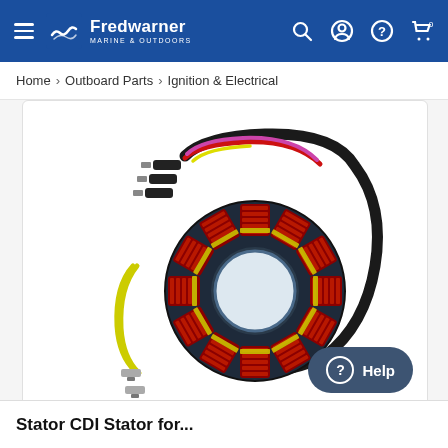Fredwarner Marine & Outdoors
Home › Outboard Parts › Ignition & Electrical
[Figure (photo): Marine stator/charging coil component with multiple colored wires (black, red, yellow, pink/purple) and connectors, showing a circular ring with red copper windings around a dark blue/black base, with yellow and black lead wires.]
Stator CDI Stator for...